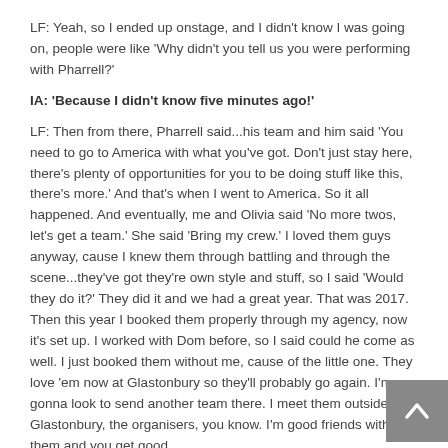LF: Yeah, so I ended up onstage, and I didn't know I was going on, people were like 'Why didn't you tell us you were performing with Pharrell?'
IA: 'Because I didn't know five minutes ago!'
LF: Then from there, Pharrell said...his team and him said 'You need to go to America with what you've got. Don't just stay here, there's plenty of opportunities for you to be doing stuff like this, there's more.' And that's when I went to America. So it all happened. And eventually, me and Olivia said 'No more twos, let's get a team.' She said 'Bring my crew.' I loved them guys anyway, cause I knew them through battling and through the scene...they've got they're own style and stuff, so I said 'Would they do it?' They did it and we had a great year. That was 2017. Then this year I booked them properly through my agency, now it's set up. I worked with Dom before, so I said could he come as well. I just booked them without me, cause of the little one. They love 'em now at Glastonbury so they'll probably go again. I'm gonna look to send another team there. I meet them outside of Glastonbury, the organisers, you know. I'm good friends with them and you get good